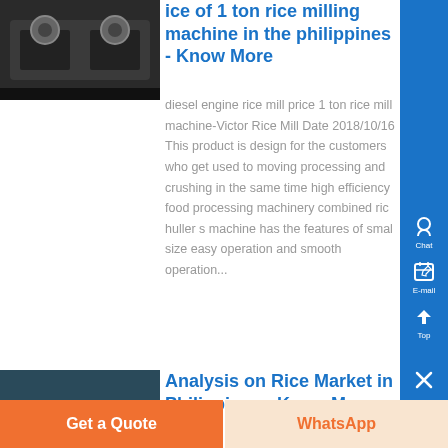[Figure (photo): Rice milling machine photo - dark metal machine with valves]
ice of 1 ton rice milling machine in the philippines - Know More
diesel engine rice mill price 1 ton rice mill machine-Victor Rice Mill Date 2018/10/16 This product is design for the customers who get used to moving processing and crushing in the same time high efficiency food processing machinery combined rice huller s machine has the features of small size easy operation and smooth operation...
[Figure (photo): Hand holding rice bowl over large industrial container]
Analysis on Rice Market in Philippines - Know More
Otherwise, the operation of the multi-pa